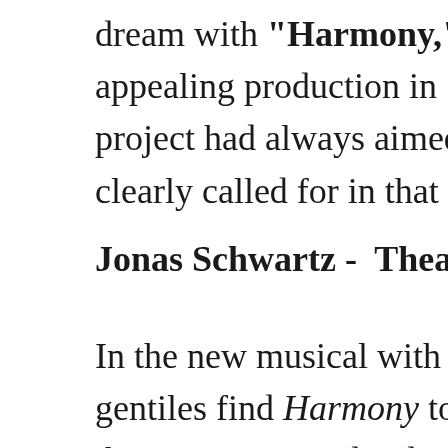dream with "Harmony," their seriocom appealing production in 1997 at La Jol project had always aimed for Broadway clearly called for in that initial renditio
Jonas Schwartz -  TheaterMania
In the new musical with music by Barn gentiles find Harmony together, celebr that stomps on individuality. The play